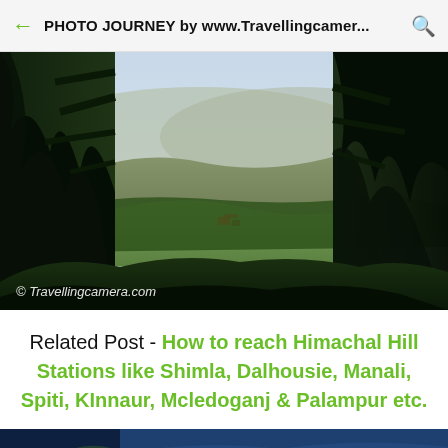PHOTO JOURNEY by www.Travellingcamer...
[Figure (photo): Mountain landscape viewed through tall pine/cedar trees, showing a green valley below and hills/mountains in the background under a hazy sky. Watermark: © Travellingcamera.com]
Related Post - How to reach Himachal Hill Stations like Shimla, Dalhousie, Manali, Spiti, KInnaur, Mcledoganj & Palampur etc.
[Figure (photo): Partial view of another travel photo with blue tones and www.travellingcamera.com watermark visible at bottom of page.]